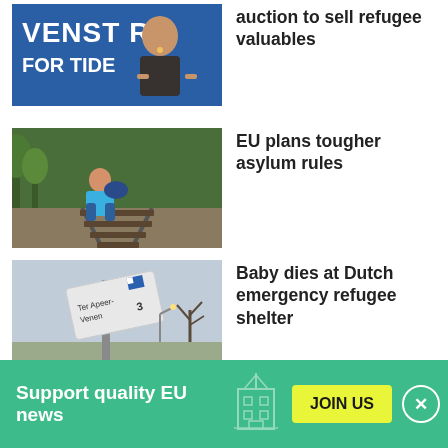[Figure (photo): Woman speaking at a podium in front of a blue sign reading partial text 'VENST RE FOR TIDE']
auction to sell refugee valuables
[Figure (photo): Young boy in blue shirt walking along railway tracks with trees in background, carrying a bag]
EU plans tougher asylum rules
[Figure (photo): Sign reading 'Ter Apeer-Venen 3' against a cloudy sky with bare trees]
Baby dies at Dutch emergency refugee shelter
Support quality EU news
JOIN US